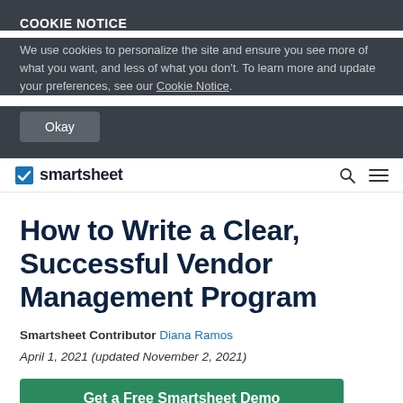COOKIE NOTICE
We use cookies to personalize the site and ensure you see more of what you want, and less of what you don't. To learn more and update your preferences, see our Cookie Notice.
Okay
smartsheet
How to Write a Clear, Successful Vendor Management Program
Smartsheet Contributor Diana Ramos
April 1, 2021 (updated November 2, 2021)
Get a Free Smartsheet Demo